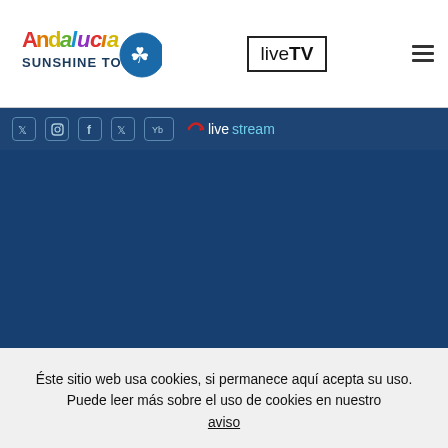[Figure (logo): Andalucia Sunshine Tour logo with colorful text and clover icon]
[Figure (logo): liveTV logo in a bordered box]
[Figure (other): Hamburger menu icon (three horizontal lines)]
[Figure (other): Social media icons bar: Twitter, Instagram, Facebook, Twitter, YouTube, and Livestream logo on dark blue background]
[Figure (other): Large dark blue content area (video/stream placeholder)]
Éste sitio web usa cookies, si permanece aquí acepta su uso. Puede leer más sobre el uso de cookies en nuestro aviso